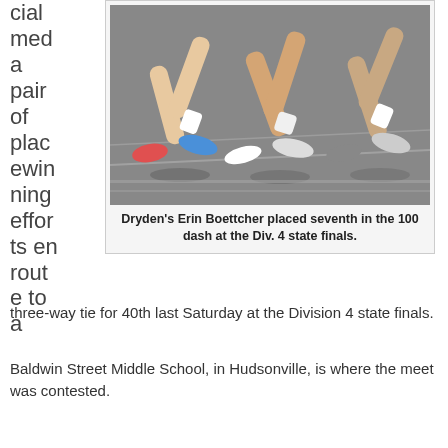cial meda a pair of placewinning efforts en route to a three-way tie for 40th last Saturday at the Division 4 state finals.
[Figure (photo): Close-up of runners' legs on a track during a race, showing feet and lower legs mid-stride.]
Dryden's Erin Boettcher placed seventh in the 100 dash at the Div. 4 state finals.
Baldwin Street Middle School, in Hudsonville, is where the meet was contested.
Mount Pleasant Sacred Heart (51 points) paced the field assembled. Hillsdale Academy (45 points), Lincoln-Alcona (37), Frankfort (36), Saugatuck (33), Pittsford and Ottawa Lake-Whiteford (25 each), Marlette and Athens (22 apiece) and Maple City Glen Lake (21.75) obtained top-ten finishes as well.
Erin Boettcher, 100 dash, 13.38 seconds; and Ella Kage, 1600 meter run, 5:43.65; led Dryden with